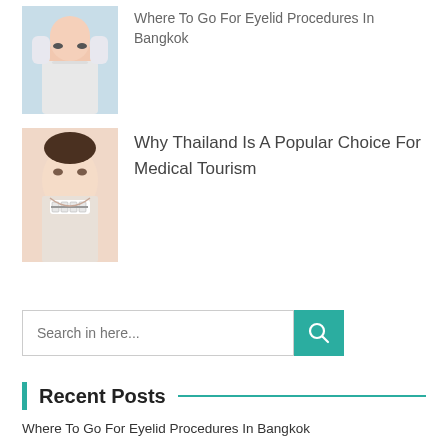[Figure (photo): Woman receiving eyelid procedure with gloved hands near her face]
Where To Go For Eyelid Procedures In Bangkok
[Figure (photo): Close-up of woman smiling with dental braces]
Why Thailand Is A Popular Choice For Medical Tourism
Search in here...
Recent Posts
Where To Go For Eyelid Procedures In Bangkok
Why Thailand Is A Popular Choice For Medical Tourism